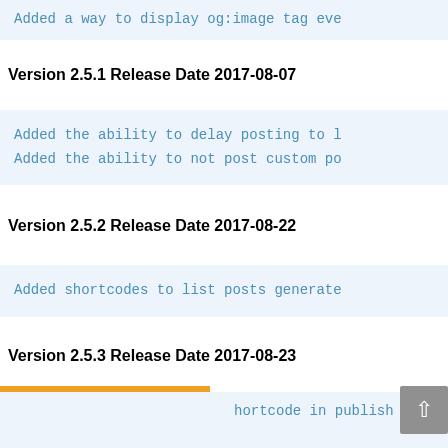Added a way to display og:image tag eve
Version 2.5.1 Release Date 2017-08-07
Added the ability to delay posting to l
Added the ability to not post custom po
Version 2.5.2 Release Date 2017-08-22
Added shortcodes to list posts generate
Version 2.5.3 Release Date 2017-08-23
hortcode in publish to Facebo